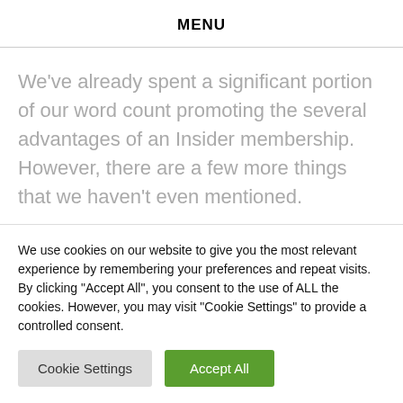MENU
We've already spent a significant portion of our word count promoting the several advantages of an Insider membership. However, there are a few more things that we haven't even mentioned.
Portfolio
We use cookies on our website to give you the most relevant experience by remembering your preferences and repeat visits. By clicking "Accept All", you consent to the use of ALL the cookies. However, you may visit "Cookie Settings" to provide a controlled consent.